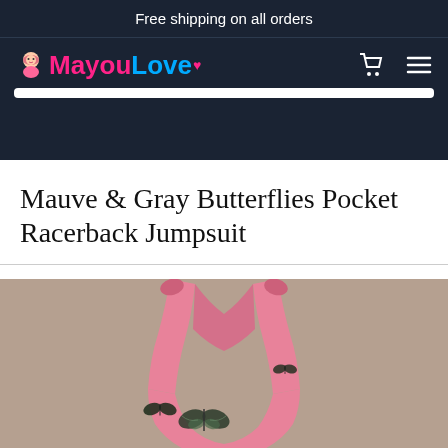Free shipping on all orders
[Figure (logo): MayouLove brand logo with cartoon girl icon, pink and blue text with heart]
Mauve & Gray Butterflies Pocket Racerback Jumpsuit
[Figure (photo): Pink jumpsuit with black butterfly print, racerback style shown from upper back angle on a tan/gray background]